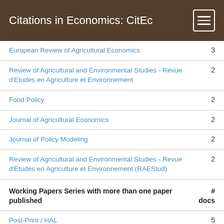Citations in Economics: CitEc
| Journal | # docs |
| --- | --- |
| European Review of Agricultural Economics | 3 |
| Review of Agricultural and Environmental Studies - Revue d'Etudes en Agriculture et Environnement | 2 |
| Food Policy | 2 |
| Journal of Agricultural Economics | 2 |
| Journal of Policy Modeling | 2 |
| Review of Agricultural and Environmental Studies - Revue d'Etudes en Agriculture et Environnement (RAEStud) | 2 |
Working Papers Series with more than one paper published
| Series | # docs |
| --- | --- |
| Post-Print / HAL | 5 |